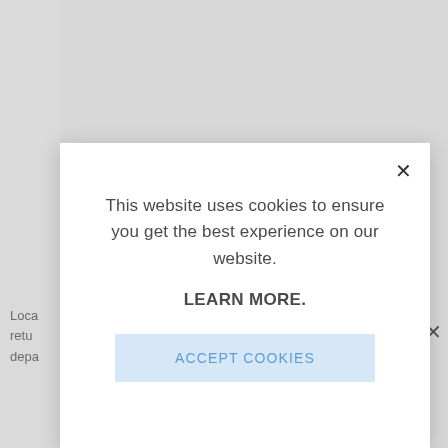[Figure (screenshot): Background webpage content with light gray background and partially visible text]
This website uses cookies to ensure you get the best experience on our website.
LEARN MORE.
ACCEPT COOKIES
Loca
retu
depa